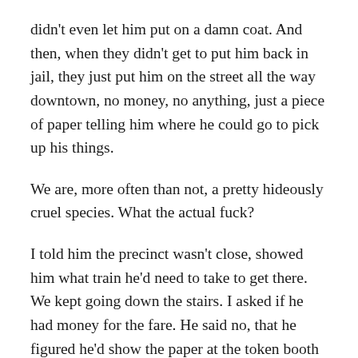didn't even let him put on a damn coat. And then, when they didn't get to put him back in jail, they just put him on the street all the way downtown, no money, no anything, just a piece of paper telling him where he could go to pick up his things.
We are, more often than not, a pretty hideously cruel species. What the actual fuck?
I told him the precinct wasn't close, showed him what train he'd need to take to get there. We kept going down the stairs. I asked if he had money for the fare. He said no, that he figured he'd show the paper at the token booth and hope the agent was nice. I'm not saying that wouldn't be possible, but we were going into an entrance that didn't